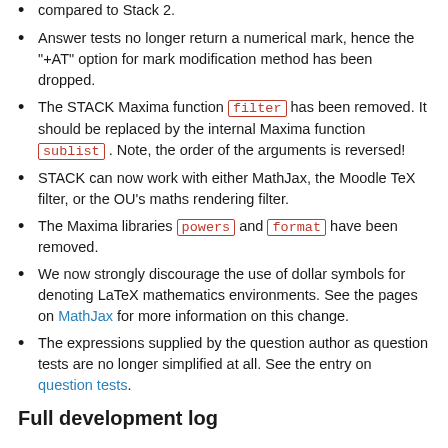compared to Stack 2.
Answer tests no longer return a numerical mark, hence the "+AT" option for mark modification method has been dropped.
The STACK Maxima function filter has been removed. It should be replaced by the internal Maxima function sublist . Note, the order of the arguments is reversed!
STACK can now work with either MathJax, the Moodle TeX filter, or the OU's maths rendering filter.
The Maxima libraries powers and format have been removed.
We now strongly discourage the use of dollar symbols for denoting LaTeX mathematics environments. See the pages on MathJax for more information on this change.
The expressions supplied by the question author as question tests are no longer simplified at all. See the entry on question tests.
Full development log
Milestone 0
Get STACK in Moodle to connect to Maxima, and clean-up CAS